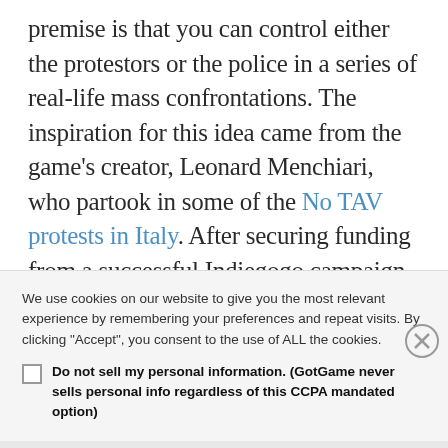premise is that you can control either the protestors or the police in a series of real-life mass confrontations. The inspiration for this idea came from the game's creator, Leonard Menchiari, who partook in some of the No TAV protests in Italy. After securing funding from a successful Indiegogo campaign back in 2014
We use cookies on our website to give you the most relevant experience by remembering your preferences and repeat visits. By clicking "Accept", you consent to the use of ALL the cookies.

[checkbox] Do not sell my personal information. (GotGame never sells personal info regardless of this CCPA mandated option)
Advertisements